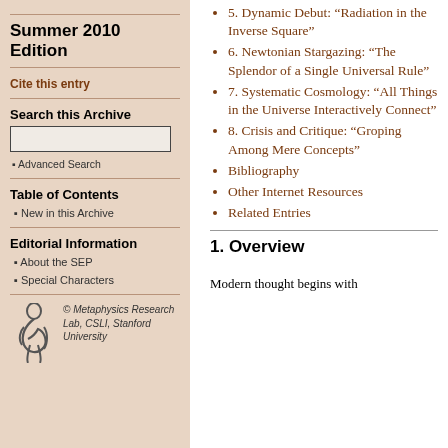Summer 2010 Edition
Cite this entry
Search this Archive
Advanced Search
Table of Contents
New in this Archive
Editorial Information
About the SEP
Special Characters
[Figure (logo): Metaphysics Research Lab, CSLI, Stanford University logo]
5. Dynamic Debut: “Radiation in the Inverse Square”
6. Newtonian Stargazing: “The Splendor of a Single Universal Rule”
7. Systematic Cosmology: “All Things in the Universe Interactively Connect”
8. Crisis and Critique: “Groping Among Mere Concepts”
Bibliography
Other Internet Resources
Related Entries
1. Overview
Modern thought begins with